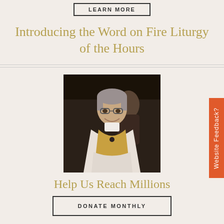LEARN MORE
Introducing the Word on Fire Liturgy of the Hours
[Figure (photo): A smiling priest wearing white and gold vestments, standing in what appears to be a church doorway with a person behind him]
Help Us Reach Millions
DONATE MONTHLY